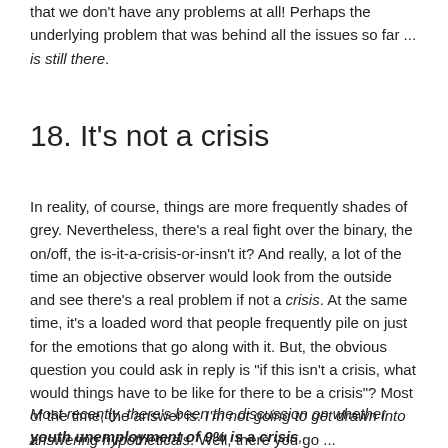that we don't have any problems at all! Perhaps the underlying problem that was behind all the issues so far ... is still there.
18. It's not a crisis
In reality, of course, things are more frequently shades of grey. Nevertheless, there's a real fight over the binary, the on/off, the is-it-a-crisis-or-insn't it? And really, a lot of the time an objective observer would look from the outside and see there's a real problem if not a crisis. At the same time, it's a loaded word that people frequently pile on just for the emotions that go along with it. But, the obvious question you could ask in reply is "if this isn't a crisis, what would things have to be like for there to be a crisis"? Most of the time, the answer is: I'm not going to get drawn into answering hypotheticals. Well, there you go ...
Most recently, there's been the discussion on whether youth unemployment of 9% is a crisis,